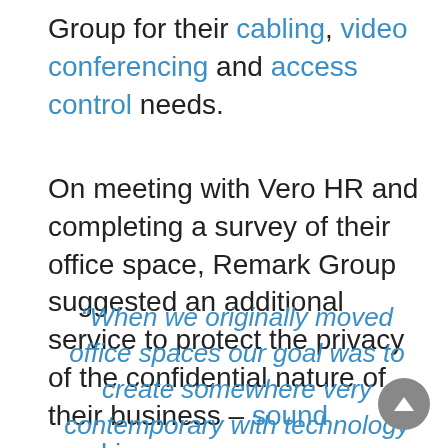Group for their cabling, video conferencing and access control needs.
On meeting with Vero HR and completing a survey of their office space, Remark Group suggested an additional service to protect the privacy of the confidential nature of their business – sound masking.
“When we originally moved office spaces our goal was to create somewhere very contemporary with technology and wellbeing in mind. We came to Remark Group as we wanted bespoke solutions that would improve the daily running’s of the business.”